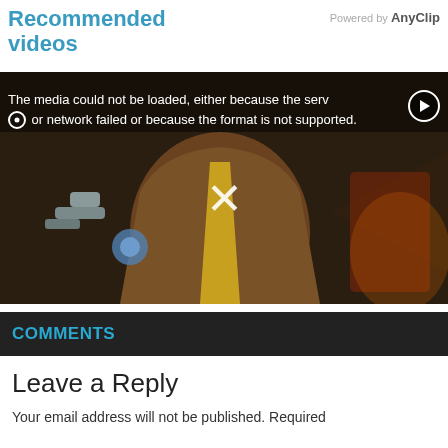Recommended videos
Powered by AnyClip
[Figure (screenshot): Video player showing an anime/cartoon game character (large figure in brown coat with mechanical arms and yellow tie). An error message reads: 'The media could not be loaded, either because the server or network failed or because the format is not supported.' A white X mark appears in the center of the video.]
COMMENTS
Leave a Reply
Your email address will not be published. Required